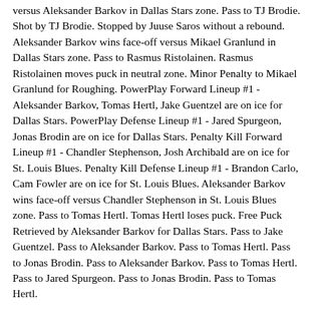versus Aleksander Barkov in Dallas Stars zone. Pass to TJ Brodie. Shot by TJ Brodie. Stopped by Juuse Saros without a rebound. Aleksander Barkov wins face-off versus Mikael Granlund in Dallas Stars zone. Pass to Rasmus Ristolainen. Rasmus Ristolainen moves puck in neutral zone. Minor Penalty to Mikael Granlund for Roughing. PowerPlay Forward Lineup #1 - Aleksander Barkov, Tomas Hertl, Jake Guentzel are on ice for Dallas Stars. PowerPlay Defense Lineup #1 - Jared Spurgeon, Jonas Brodin are on ice for Dallas Stars. Penalty Kill Forward Lineup #1 - Chandler Stephenson, Josh Archibald are on ice for St. Louis Blues. Penalty Kill Defense Lineup #1 - Brandon Carlo, Cam Fowler are on ice for St. Louis Blues. Aleksander Barkov wins face-off versus Chandler Stephenson in St. Louis Blues zone. Pass to Tomas Hertl. Tomas Hertl loses puck. Free Puck Retrieved by Aleksander Barkov for Dallas Stars. Pass to Jake Guentzel. Pass to Aleksander Barkov. Pass to Tomas Hertl. Pass to Jonas Brodin. Pass to Aleksander Barkov. Pass to Tomas Hertl. Pass to Jared Spurgeon. Pass to Jonas Brodin. Pass to Tomas Hertl.
Time : 7. Pass to Aleksander Barkov. Pass to Jared Spurgeon. Pass to Tomas Hertl. Pass to Aleksander Barkov. Pass to Jonas Brodin. Pass to Jared Spurgeon. Pass to Aleksander Barkov. Puck is dumped in St. Louis Blues zone by Aleksander Barkov. PowerPlay Forward Lineup #2 - Nicklas Backstrom, Jason Robertson, Travis Konecny are on ice for Dallas Stars. PowerPlay Defense Lineup #2 - Rasmus Ristolainen, Ryan Graves are on ice for Dallas Stars.